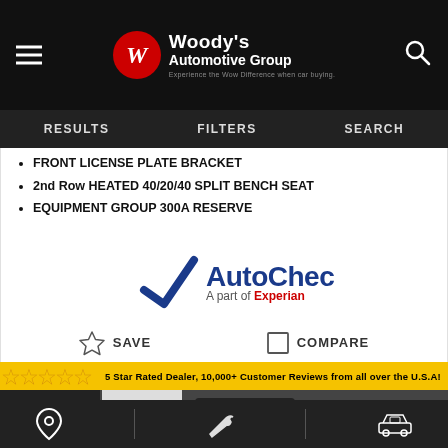Woody's Automotive Group
FRONT LICENSE PLATE BRACKET
2nd Row HEATED 40/20/40 SPLIT BENCH SEAT
EQUIPMENT GROUP 300A RESERVE
[Figure (logo): AutoCheck - A part of Experian logo]
SAVE | COMPARE
[Figure (photo): 5 Star Rated Dealer, 10,000+ Customer Reviews from all over the U.S.A! Banner with stars, and a dark pickup truck in a dealership lot. Woodys.com signage, 2020 Dealer of the Year sign visible.]
Location | Wrench/Service | Car